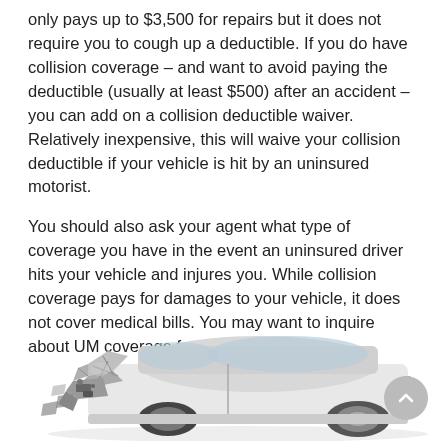only pays up to $3,500 for repairs but it does not require you to cough up a deductible. If you do have collision coverage – and want to avoid paying the deductible (usually at least $500) after an accident – you can add on a collision deductible waiver. Relatively inexpensive, this will waive your collision deductible if your vehicle is hit by an uninsured motorist.
You should also ask your agent what type of coverage you have in the event an uninsured driver hits your vehicle and injures you. While collision coverage pays for damages to your vehicle, it does not cover medical bills. You may want to inquire about UM coverage for bodily injury.
[Figure (photo): A heavily damaged white car with front-end collision damage, hood crumpled and front bumper destroyed.]